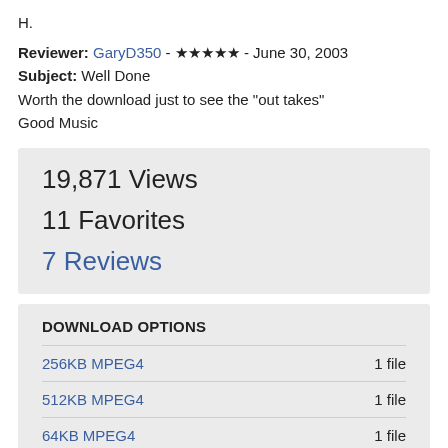H.
Reviewer: GaryD350 - ★★★★★ - June 30, 2003
Subject: Well Done
Worth the download just to see the "out takes"
Good Music
19,871 Views
11 Favorites
7 Reviews
DOWNLOAD OPTIONS
256KB MPEG4  1 file
512KB MPEG4  1 file
64KB MPEG4  1 file